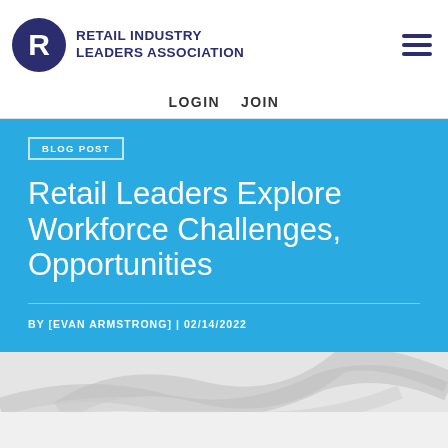RETAIL INDUSTRY LEADERS ASSOCIATION
LOGIN   JOIN
BLOG POST
Retail Leaders Explore Workforce Challenges, Opportunities
BY [EVAN ARMSTRONG] | 02/14/2022
[Figure (photo): Partial view of a curved/swirling graphic or illustration at the bottom of the page]